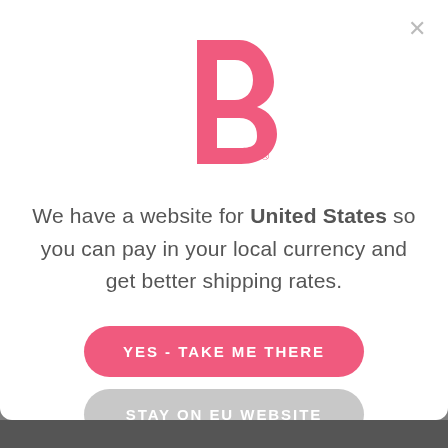[Figure (logo): ShirtB logo: pink letter B with SHIRT written vertically on the left side, registered trademark symbol]
We have a website for United States so you can pay in your local currency and get better shipping rates.
YES - TAKE ME THERE
STAY ON EU WEBSITE